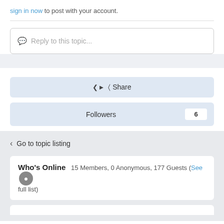sign in now to post with your account.
Reply to this topic...
Share
Followers 6
Go to topic listing
Who's Online  15 Members, 0 Anonymous, 177 Guests (See full list)